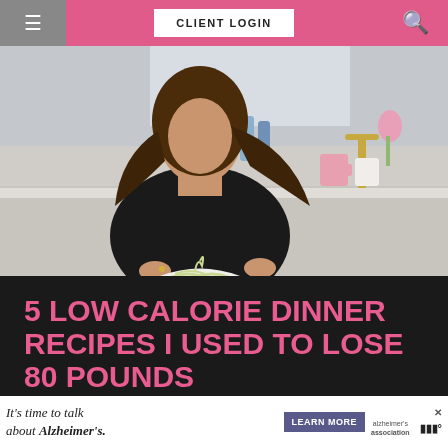CLIENT LOGIN
[Figure (photo): A woman with long brown hair wearing a black top, holding a white bowl of zoodles/noodles in a modern kitchen with marble countertops, a gold faucet, and decorative items in the background.]
5 LOW CALORIE DINNER RECIPES I USED TO LOSE 80 POUNDS
[Figure (other): Advertisement banner: 'It's time to talk about Alzheimer's.' with a LEARN MORE button and Alzheimer's Association logo]